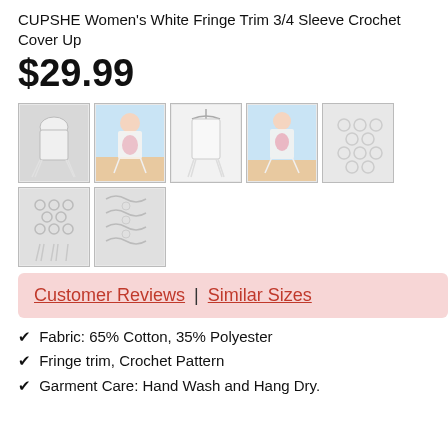CUPSHE Women's White Fringe Trim 3/4 Sleeve Crochet Cover Up
$29.99
[Figure (photo): Seven product thumbnail images of a white fringe trim crochet cover up, arranged in two rows: 5 in the first row and 2 in the second.]
Customer Reviews | Similar Sizes
Fabric: 65% Cotton, 35% Polyester
Fringe trim, Crochet Pattern
Garment Care: Hand Wash and Hang Dry.